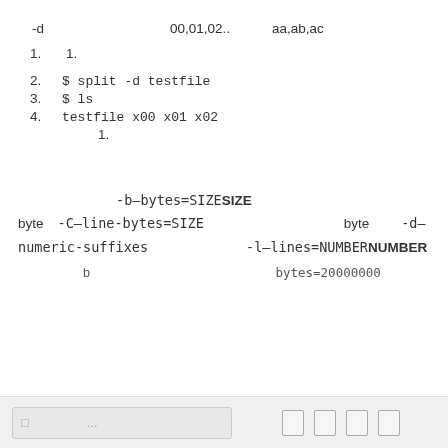-d　　　　　　　　　00,01,02..　　　aa,ab,ac
1.   1.
2. $ split -d testfile
3. $ ls
4. testfile x00 x01 x02
1.
-b–bytes=SIZESIZE 　　　　　　　　　　　byte　-C–line-bytes=SIZE　　　　　　　　　　byte 　　-d–numeric-suffixes　　　　　　　-l–lines=NUMBERNUMBER
b 　　　　　　　　　　　　　　bytes=20000000